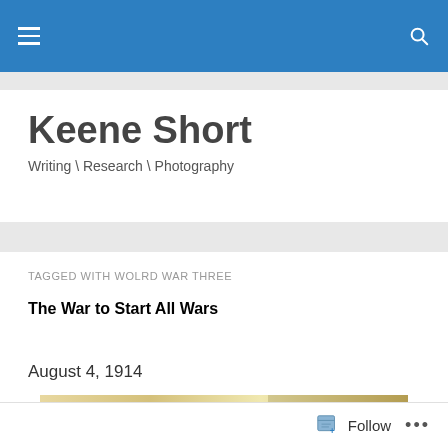Keene Short
Writing \ Research \ Photography
TAGGED WITH WOLRD WAR THREE
The War to Start All Wars
August 4, 1914
[Figure (illustration): Vintage WWI-era political cartoon showing caricatured figures near the North Sea, with text labels including 'Nord-See' and various country names.]
Follow